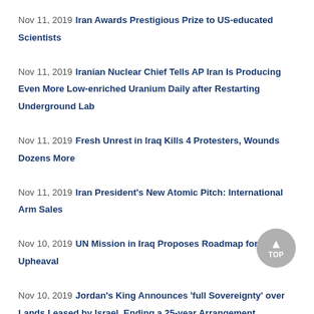Nov 11, 2019 Iran Awards Prestigious Prize to US-educated Scientists
Nov 11, 2019 Iranian Nuclear Chief Tells AP Iran Is Producing Even More Low-enriched Uranium Daily after Restarting Underground Lab
Nov 11, 2019 Fresh Unrest in Iraq Kills 4 Protesters, Wounds Dozens More
Nov 11, 2019 Iran President's New Atomic Pitch: International Arm Sales
Nov 10, 2019 UN Mission in Iraq Proposes Roadmap for Ending Upheaval
Nov 10, 2019 Jordan's King Announces 'full Sovereignty' over Lands Leased by Israel, Ending a 25-year Arrangement
Nov 10, 2019 Iran Calls Ex-FBI Agent's Case a 'missing Person'